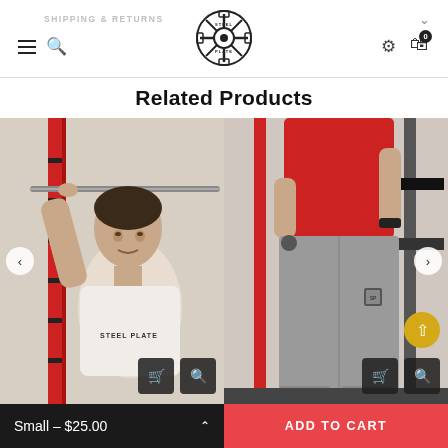SHIPPING & RETURNS — Steel Plate logo — navigation icons — 0 cart
Related Products
[Figure (photo): Man in white Steel Plate t-shirt holding a barbell overhead in a gym with red squat rack in background]
[Figure (photo): Person wearing red shirt and grey jogger pants with Steel Plate logo patch, standing in gym with red rack and weights in background]
Small – $25.00
ADD TO CART